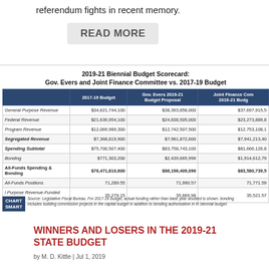referendum fights in recent memory.
READ MORE
|  | 2017-19 Budget | Gov. Evers 2019-21 Budget Proposal | Joint Finance Com 2019-21 Budg |
| --- | --- | --- | --- |
| General Purpose Revenue | $34,621,744,100 | $38,393,858,000 | $37,697,915,5 |
| Federal Revenue | $21,639,954,100 | $24,838,505,000 | $23,273,889,8 |
| Program Revenue | $12,069,989,300 | $12,742,507,500 | $12,753,108,1 |
| Segregated Revenue | $7,368,819,900 | $7,981,872,600 | $7,941,213,40 |
| Spending Subtotal | $75,700,507,400 | $83,758,743,100 | $81,666,126,8 |
| Bonding | $771,303,200 | $2,439,665,996 | $1,914,612,79 |
| All-Funds Spending & Bonding | $76,471,810,600 | $86,196,409,096 | $83,580,739,5 |
| All-Funds Positions | 71,289.55 | 71,990.57 | 71,771.59 |
| l Purpose Revenue-Funded Positions | 35,279.15 | 35,669.96 | 35,521.57 |
Source: Legislative Fiscal Bureau. For 2017-19 budget, actual funding rather than base year doubled is shown. bonding includes building commission projects in the capital budget in addition to bonding authorization in th biennial budget.
WINNERS AND LOSERS IN THE 2019-21 STATE BUDGET
by M. D. Kittle | Jul 1, 2019